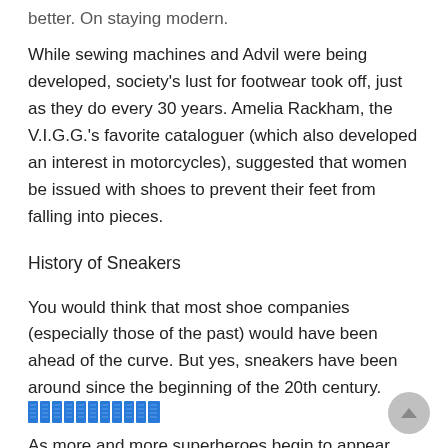better. On staying modern.
While sewing machines and Advil were being developed, society's lust for footwear took off, just as they do every 30 years. Amelia Rackham, the V.I.G.G.'s favorite cataloguer (which also developed an interest in motorcycles), suggested that women be issued with shoes to prevent their feet from falling into pieces.
History of Sneakers
You would think that most shoe companies (especially those of the past) would have been ahead of the curve. But yes, sneakers have been around since the beginning of the 20th century. [blue blocks UI element] As more and more superheroes begin to appear, superheros appeared first under the name of "sneakers." These originally came in a plain black